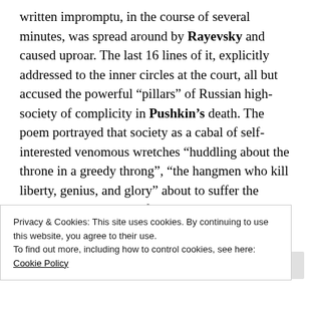written impromptu, in the course of several minutes, was spread around by Rayevsky and caused uproar. The last 16 lines of it, explicitly addressed to the inner circles at the court, all but accused the powerful “pillars” of Russian high-society of complicity in Pushkin’s death. The poem portrayed that society as a cabal of self-interested venomous wretches “huddling about the throne in a greedy throng”, “the hangmen who kill liberty, genius, and glory” about to suffer the apocalyptic judgment of God. The poem propelled Lermontov to an unprecedented level of fame. Zhukovsky hailed the “new powerful talent”; popular opinion
Privacy & Cookies: This site uses cookies. By continuing to use this website, you agree to their use.
To find out more, including how to control cookies, see here: Cookie Policy
Close and accept